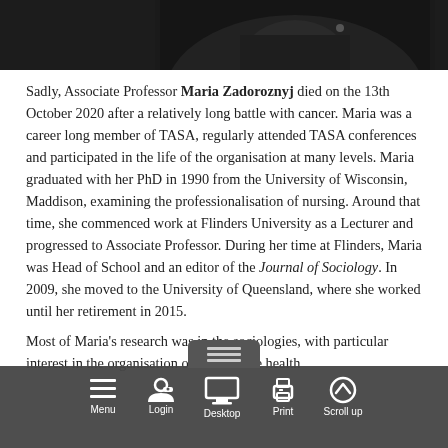[Figure (photo): Top portion of a photograph showing a person in dark/black clothing, cropped at approximately chest/shoulder level.]
Sadly, Associate Professor Maria Zadoroznyj died on the 13th October 2020 after a relatively long battle with cancer. Maria was a career long member of TASA, regularly attended TASA conferences and participated in the life of the organisation at many levels. Maria graduated with her PhD in 1990 from the University of Wisconsin, Maddison, examining the professionalisation of nursing. Around that time, she commenced work at Flinders University as a Lecturer and progressed to Associate Professor. During her time at Flinders, Maria was Head of School and an editor of the Journal of Sociology. In 2009, she moved to the University of Queensland, where she worked until her retirement in 2015.
Most of Maria's research was in the sociologies, with particular interest in the organisation of work in the health